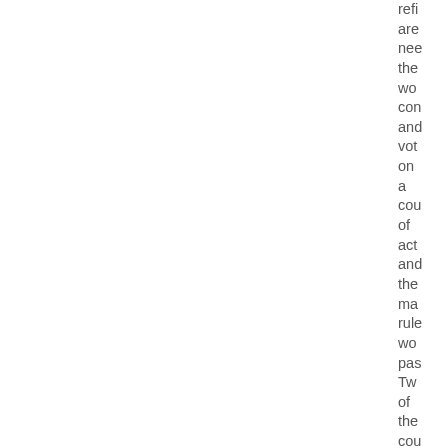ref are nee the wo con and vot on a cou of act and the ma rule wo pas Tw of the cou (Sh and